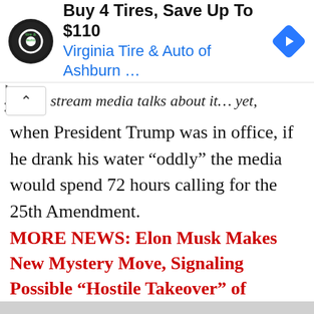[Figure (other): Advertisement banner: circular logo for Virginia Tire & Auto, text 'Buy 4 Tires, Save Up To $110' and 'Virginia Tire & Auto of Ashburn ...' with a blue navigation diamond icon on the right.]
stream media talks about it... yet, when President Trump was in office, if he drank his water “oddly” the media would spend 72 hours calling for the 25th Amendment.
MORE NEWS: Elon Musk Makes New Mystery Move, Signaling Possible “Hostile Takeover” of Twitter